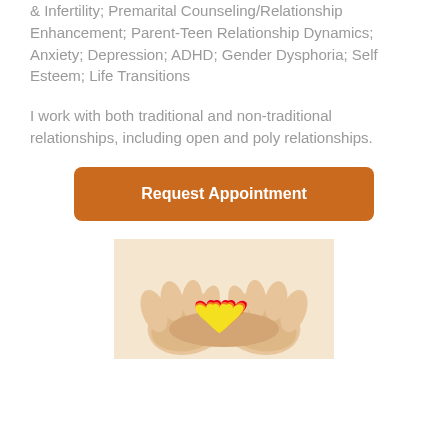& Infertility; Premarital Counseling/Relationship Enhancement; Parent-Teen Relationship Dynamics; Anxiety; Depression; ADHD; Gender Dysphoria; Self Esteem; Life Transitions
I work with both traditional and non-traditional relationships, including open and poly relationships.
[Figure (other): Orange button labeled 'Request Appointment']
[Figure (photo): Hands holding a rainbow-colored heart, representing LGBTQ+ support and love]